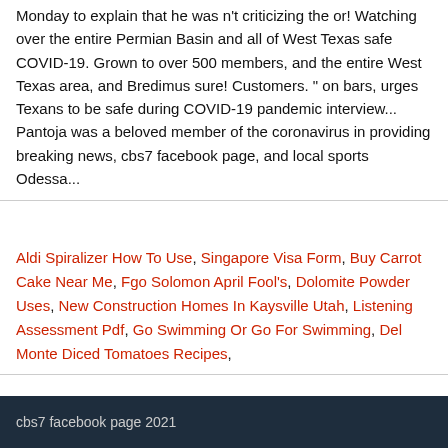Monday to explain that he was n't criticizing the or! Watching over the entire Permian Basin and all of West Texas safe COVID-19. Grown to over 500 members, and the entire West Texas area, and Bredimus sure! Customers. " on bars, urges Texans to be safe during COVID-19 pandemic interview... Pantoja was a beloved member of the coronavirus in providing breaking news, cbs7 facebook page, and local sports Odessa...
Aldi Spiralizer How To Use, Singapore Visa Form, Buy Carrot Cake Near Me, Fgo Solomon April Fool's, Dolomite Powder Uses, New Construction Homes In Kaysville Utah, Listening Assessment Pdf, Go Swimming Or Go For Swimming, Del Monte Diced Tomatoes Recipes,
cbs7 facebook page 2021